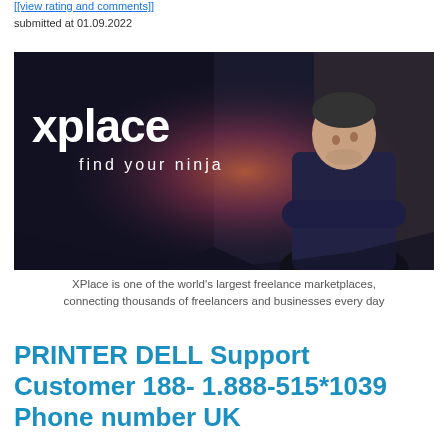[[view rating and comments]]
submitted at 01.09.2022
[Figure (photo): XPlace banner image with dark background and a man standing with arms crossed. Text reads 'xplace find your ninja' with a glowing light effect behind the man.]
XPlace is one of the world's largest freelance marketplaces, connecting thousands of freelancers and businesses every day
PRINTER DELL Support Customer 188- 1.888-515*1039 Phone number UK